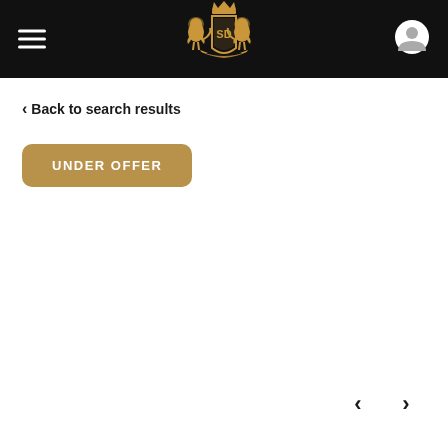SD logo header with hamburger menu and user icon
< Back to search results
UNDER OFFER